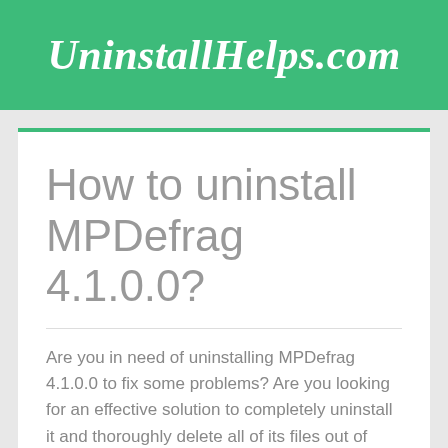UninstallHelps.com
How to uninstall MPDefrag 4.1.0.0?
Are you in need of uninstalling MPDefrag 4.1.0.0 to fix some problems? Are you looking for an effective solution to completely uninstall it and thoroughly delete all of its files out of your PC? No worry! This page provides detailed instructions on how to completely uninstall MPDefrag 4.1.0.0.